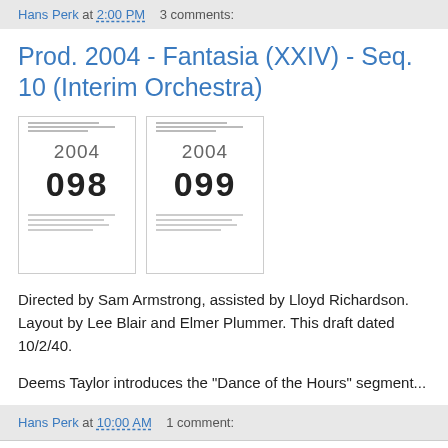Hans Perk at 2:00 PM   3 comments:
Prod. 2004 - Fantasia (XXIV)  - Seq. 10 (Interim Orchestra)
[Figure (other): Two thumbnail images side by side, each showing a document page labeled with year 2004 and numbers 098 and 099 respectively.]
Directed by Sam Armstrong, assisted by Lloyd Richardson. Layout by Lee Blair and Elmer Plummer. This draft dated 10/2/40.
Deems Taylor introduces the "Dance of the Hours" segment...
Hans Perk at 10:00 AM   1 comment: